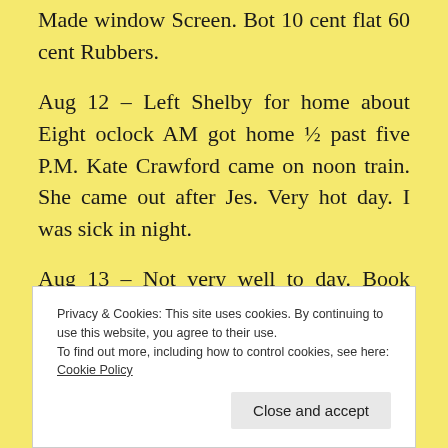Made window screen. Bot 10 cent flat 60 cent Rubbers.
Aug 12 – Left Shelby for home about Eight oclock AM got home ½ past five P.M. Kate Crawford came on noon train. She came out after Jes. Very hot day. I was sick in night.
Aug 13 – Not very well to day. Book agent called here. Kate and Jes left for home on noon train.
Privacy & Cookies: This site uses cookies. By continuing to use this website, you agree to their use.
To find out more, including how to control cookies, see here: Cookie Policy